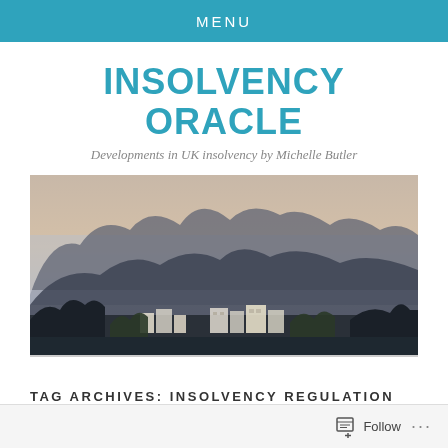MENU
INSOLVENCY ORACLE
Developments in UK insolvency by Michelle Butler
[Figure (photo): Panoramic landscape photo showing misty mountains in the background and buildings/village structures in the foreground, taken at dusk or dawn with a hazy atmosphere.]
TAG ARCHIVES: INSOLVENCY REGULATION